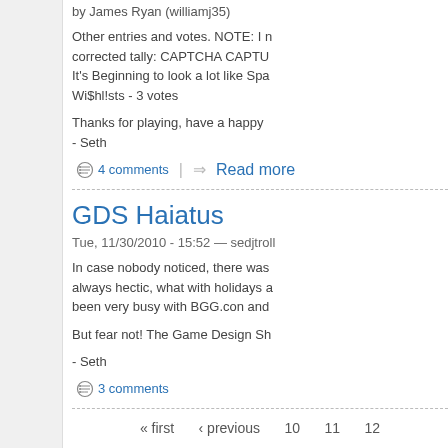by James Ryan (williamj35)
Other entries and votes. NOTE: I  corrected tally: CAPTCHA CAPTU  It's Beginning to look a lot like Spa  Wi$hl!sts - 3 votes
Thanks for playing, have a happy  - Seth
4 comments  |  Read more
GDS Haiatus
Tue, 11/30/2010 - 15:52 — sedjtroll
In case nobody noticed, there was  always hectic, what with holidays a  been very busy with BGG.con and
But fear not! The Game Design Sh
- Seth
3 comments
« first  ‹ previous  10  11  12